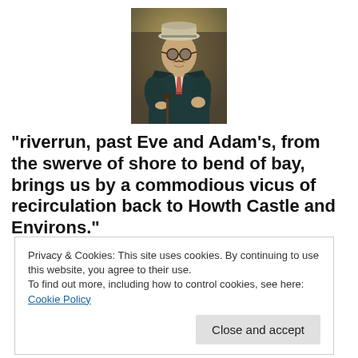[Figure (photo): Portrait painting of a man in a suit with a hat and glasses, seated, with a cane]
“riverrun, past Eve and Adam’s, from the swerve of shore to bend of bay, brings us by a commodious vicus of recirculation back to Howth Castle and Environs.”
Privacy & Cookies: This site uses cookies. By continuing to use this website, you agree to their use.
To find out more, including how to control cookies, see here: Cookie Policy
Close and accept